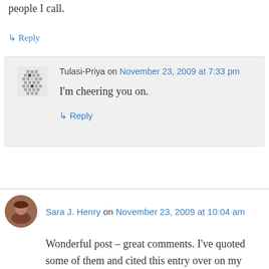people I call.
↳ Reply
Tulasi-Priya on November 23, 2009 at 7:33 pm
I'm cheering you on.
↳ Reply
Sara J. Henry on November 23, 2009 at 10:04 am
Wonderful post – great comments. I've quoted some of them and cited this entry over on my blog.
http://sarainvermont.blogspot.com/2009/11/insult-we-have-known-things-writers.html